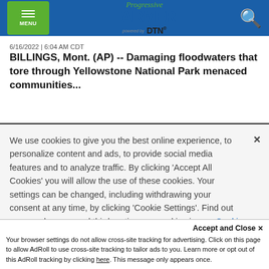MENU | Progressive Farmer powered by DTN
6/16/2022 | 6:04 AM CDT
BILLINGS, Mont. (AP) -- Damaging floodwaters that tore through Yellowstone National Park menaced communities...
We use cookies to give you the best online experience, to personalize content and ads, to provide social media features and to analyze traffic. By clicking 'Accept All Cookies' you will allow the use of these cookies. Your settings can be changed, including withdrawing your consent at any time, by clicking 'Cookie Settings'. Find out more on how we and third parties use cookies in our  Cookie Policy
Accept and Close ×
Your browser settings do not allow cross-site tracking for advertising. Click on this page to allow AdRoll to use cross-site tracking to tailor ads to you. Learn more or opt out of this AdRoll tracking by clicking here. This message only appears once.